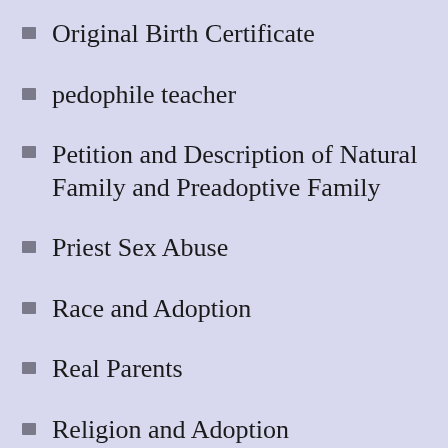Original Birth Certificate
pedophile teacher
Petition and Description of Natural Family and Preadoptive Family
Priest Sex Abuse
Race and Adoption
Real Parents
Religion and Adoption
Reproductive technologies
R...